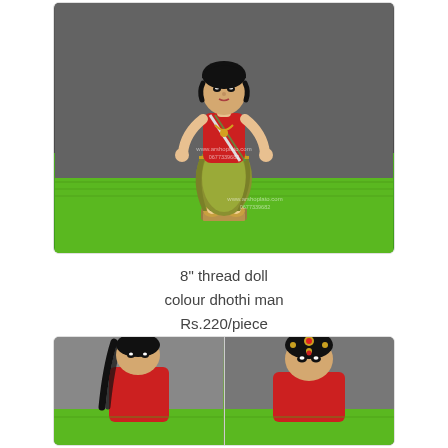[Figure (photo): Photo of an 8 inch thread doll dressed as a man in traditional Indian attire — red top, gold/olive dhoti, black hair, standing on a small base. Background is grey wall with bright green artificial turf at bottom. Watermark text visible on doll.]
8" thread doll colour dhothi man Rs.220/piece
[Figure (photo): Two partial photos side by side showing close-up views of two thread dolls — left shows a doll with black hair braids and red outfit, right shows a doll with decorative headpiece/jewellery and red outfit. Green turf visible at bottom.]